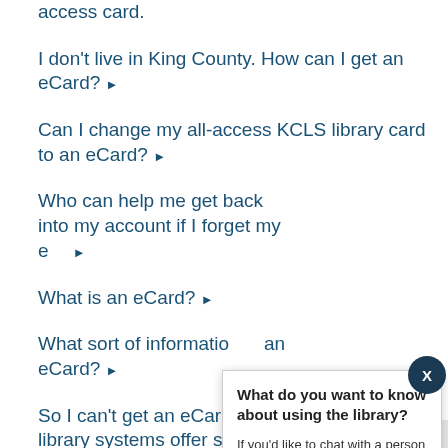access card.
I don't live in King County. How can I get an eCard? ▶
Can I change my all-access KCLS library card to an eCard? ▶
Who can help me get back into my account if I forget my e… ▶
What is an eCard? ▶
What sort of informatio… an eCard? ▶
So I can't get an eCard… library systems offer s… eCard? ▶
[Figure (screenshot): Chat popup overlay with title 'What do you want to know about using the library?' and text 'If you'd like to chat with a person or need help with your account, visit kcls.org/ask' with a 'Chat now' button footer and X close button.]
Back to Top